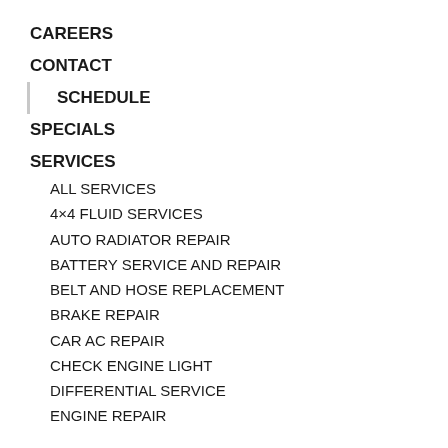CAREERS
CONTACT
SCHEDULE
SPECIALS
SERVICES
ALL SERVICES
4×4 FLUID SERVICES
AUTO RADIATOR REPAIR
BATTERY SERVICE AND REPAIR
BELT AND HOSE REPLACEMENT
BRAKE REPAIR
CAR AC REPAIR
CHECK ENGINE LIGHT
DIFFERENTIAL SERVICE
ENGINE REPAIR